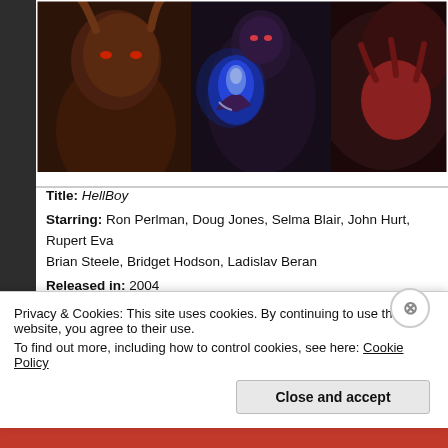[Figure (photo): Movie still from HellBoy showing characters with glowing blue flame effect, dark fantasy scene]
Title: HellBoy
Starring: Ron Perlman, Doug Jones, Selma Blair, John Hurt, Rupert Eva... Brian Steele, Bridget Hodson, Ladislav Beran
Released in: 2004
Directed by: Guillermo del Toro
Written by: Guillermo del Toro
Based On: Hellboy: Seed of Destruction by Mike Mignola
Light or Dark Fantasy?: Dark
Fantastical Elements: Magic, demons, immortality, humanoid creatures, wizards, portals to hell
5 Second Synopsis: A demon, raised from infancy after being sani...
Privacy & Cookies: This site uses cookies. By continuing to use this website, you agree to their use.
To find out more, including how to control cookies, see here: Cookie Policy
Close and accept